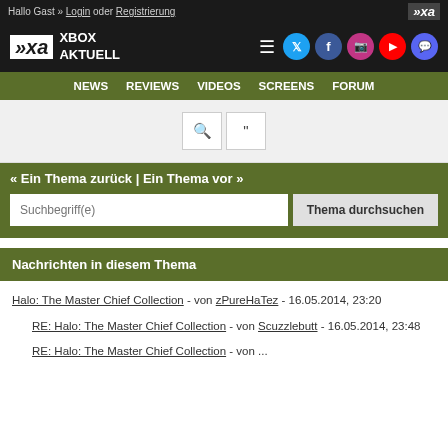Hallo Gast » Login oder Registrierung
[Figure (logo): Xbox Aktuell logo with XA symbol and navigation icons (hamburger menu, Twitter, Facebook, Instagram, YouTube, Discord)]
NEWS  REVIEWS  VIDEOS  SCREENS  FORUM
Search tools row with magnifying glass and quote icons
« Ein Thema zurück | Ein Thema vor »
Suchbegriff(e)  Thema durchsuchen
Nachrichten in diesem Thema
Halo: The Master Chief Collection - von zPureHaTez - 16.05.2014, 23:20
RE: Halo: The Master Chief Collection - von Scuzzlebutt - 16.05.2014, 23:48
RE: Halo: The Master Chief Collection - von ... - 17.05.2014, ...